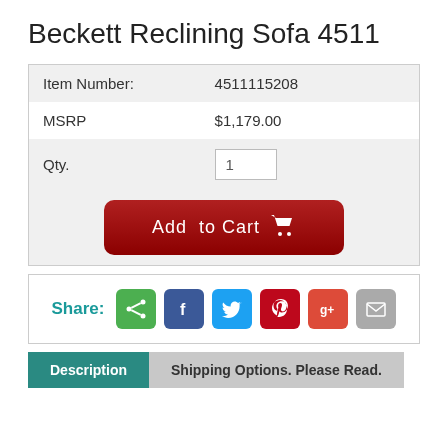Beckett Reclining Sofa 4511
| Item Number: | 4511115208 |
| MSRP | $1,179.00 |
| Qty. | 1 |
Add to Cart
Share:
Description
Shipping Options. Please Read.